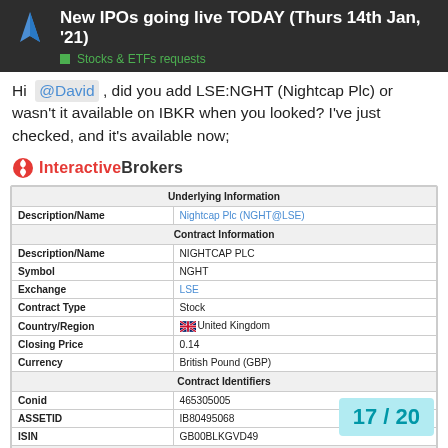New IPOs going live TODAY (Thurs 14th Jan, '21) — Stocks & ETFs requests
Hi @David , did you add LSE:NGHT (Nightcap Plc) or wasn't it available on IBKR when you looked? I've just checked, and it's available now;
[Figure (screenshot): Interactive Brokers logo followed by a table showing Underlying Information and Contract Information for Nightcap Plc (NGHT@LSE) on the LSE exchange, including fields: Description/Name, Symbol, Exchange, Contract Type, Country/Region, Closing Price, Currency, Conid, ASSETID, ISIN, and Stock Features.]
| Field | Value |
| --- | --- |
| Underlying Information |  |
| Description/Name | Nightcap Plc (NGHT@LSE) |
| Contract Information |  |
| Description/Name | NIGHTCAP PLC |
| Symbol | NGHT |
| Exchange | LSE |
| Contract Type | Stock |
| Country/Region | 🇬🇧 United Kingdom |
| Closing Price | 0.14 |
| Currency | British Pound (GBP) |
| Contract Identifiers |  |
| Conid | 465305005 |
| ASSETID | IB80495068 |
| ISIN | GB00BLKGVD49 |
| Stock Features |  |